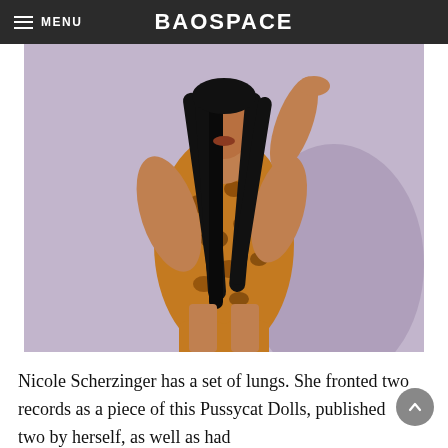MENU  BAOSPACE
[Figure (photo): Woman with long black hair wearing a leopard print bodysuit, posed with one arm raised, against a light purple/grey background]
Nicole Scherzinger has a set of lungs. She fronted two records as a piece of this Pussycat Dolls, published two by herself, as well as had